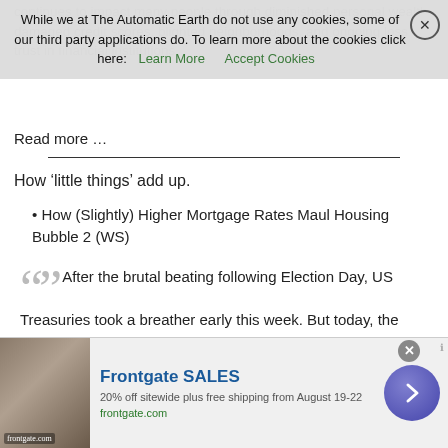continues to impact many people through diminished personal wealth, damaged credit scores, blighted neighborhoods, and ongoing loss of trust in financial institutions.
While we at The Automatic Earth do not use any cookies, some of our third party applications do. To learn more about the cookies click here: Learn More  Accept Cookies
Read more …
How ‘little things’ add up.
How (Slightly) Higher Mortgage Rates Maul Housing Bubble 2 (WS)
After the brutal beating following Election Day, US Treasuries took a breather early this week. But today, the beating resumed and will continue until the mood improves. Mid-day, the 10-year Treasury fell so hard that its yield, which moves in the opposite direction of price, spiked to 2.42%. By the end of the day, the 10-year yield was at 2.36%, up 4 basis points for the day, and up an entire percentage
[Figure (screenshot): Advertisement banner for Frontgate SALES: 20% off sitewide plus free shipping from August 19-22, frontgate.com, with outdoor furniture image and purple arrow button]